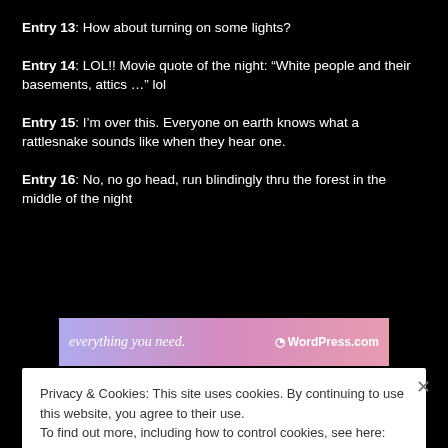Entry 13: How about turning on some lights?
Entry 14: LOL!! Movie quote of the night: “White people and their basements, attics …” lol
Entry 15: I’m over this. Everyone on earth knows what a rattlesnake sounds like when they hear one.
Entry 16: No, no go head, run blindingly thru the forest in the middle of the night
[Figure (other): WordPress.com advertisement banner: 'everything you need.' with WordPress.com logo on a purple-pink gradient background]
REPORT THIS AD
Privacy & Cookies: This site uses cookies. By continuing to use this website, you agree to their use.
To find out more, including how to control cookies, see here: Cookie Policy
Close and accept